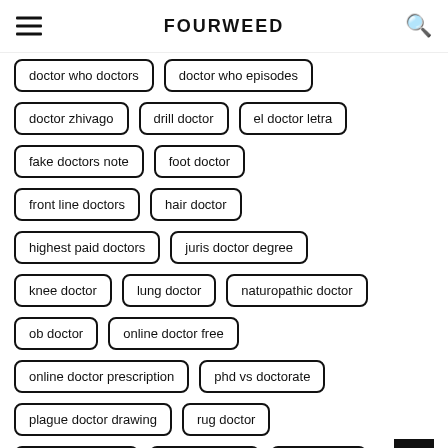FOURWEED
doctor who doctors
doctor who episodes
doctor zhivago
drill doctor
el doctor letra
fake doctors note
foot doctor
front line doctors
hair doctor
highest paid doctors
juris doctor degree
knee doctor
lung doctor
naturopathic doctor
ob doctor
online doctor free
online doctor prescription
phd vs doctorate
plague doctor drawing
rug doctor
rug doctor rental
scratch doctor
sleep doctor